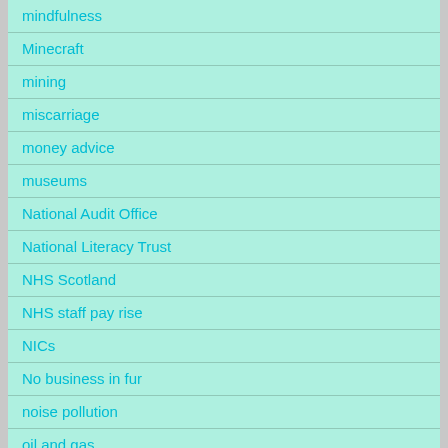mindfulness
Minecraft
mining
miscarriage
money advice
museums
National Audit Office
National Literacy Trust
NHS Scotland
NHS staff pay rise
NICs
No business in fur
noise pollution
oil and gas
One Parent Families Scotland
Overseas Operations Bill 2020